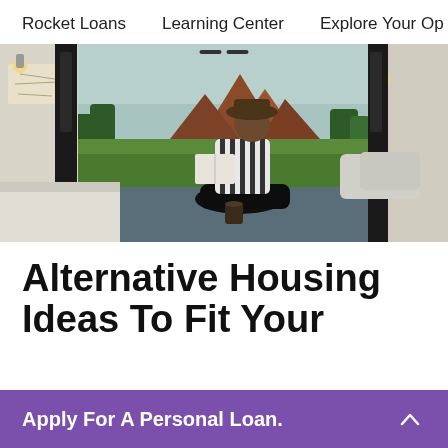Rocket Loans | Learning Center | Explore Your Op
[Figure (photo): Person sitting in the open back of a camper van reading a book, with red rock formations and green meadow scenery visible through the open doors. Interior shows a bed with pillows. Coffee cup on the floor.]
Alternative Housing Ideas To Fit Your
Apply For A Personal Loan.